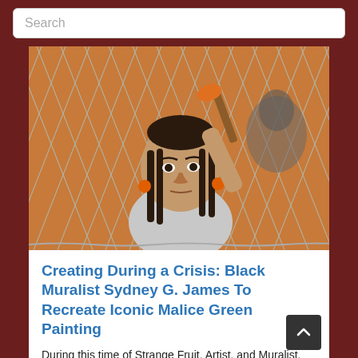Search
[Figure (photo): A woman with dreadlocks and orange earrings holds a paintbrush up to a chain-link fence, with an orange mural visible in the background.]
Creating During a Crisis: Black Muralist Sydney G. James To Recreate Iconic Malice Green Painting
During this time of Strange Fruit, Artist, and Muralist, Sydney G. James has found a way to hang her frustrations by re-creating the mural in honor of unjustly slain Malice Green, killed at the hands of Polic…